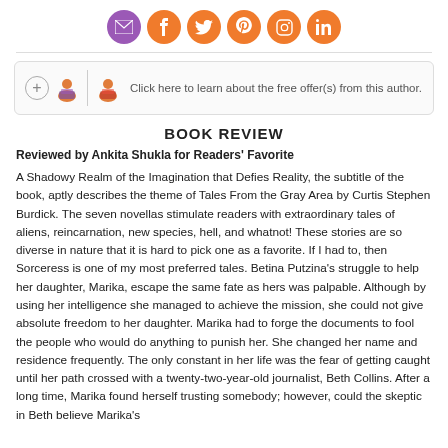[Figure (infographic): Row of social media icon buttons: email (purple), Facebook, Twitter, Pinterest, Instagram, LinkedIn (all orange)]
[Figure (infographic): Offer box with plus button, two reader avatar icons, a vertical divider, and text: Click here to learn about the free offer(s) from this author.]
BOOK REVIEW
Reviewed by Ankita Shukla for Readers' Favorite
A Shadowy Realm of the Imagination that Defies Reality, the subtitle of the book, aptly describes the theme of Tales From the Gray Area by Curtis Stephen Burdick. The seven novellas stimulate readers with extraordinary tales of aliens, reincarnation, new species, hell, and whatnot! These stories are so diverse in nature that it is hard to pick one as a favorite. If I had to, then Sorceress is one of my most preferred tales. Betina Putzina's struggle to help her daughter, Marika, escape the same fate as hers was palpable. Although by using her intelligence she managed to achieve the mission, she could not give absolute freedom to her daughter. Marika had to forge the documents to fool the people who would do anything to punish her. She changed her name and residence frequently. The only constant in her life was the fear of getting caught until her path crossed with a twenty-two-year-old journalist, Beth Collins. After a long time, Marika found herself trusting somebody; however, could the skeptic in Beth believe Marika's...